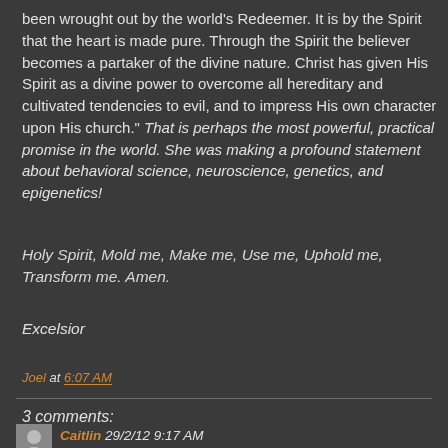been wrought out by the world's Redeemer. It is by the Spirit that the heart is made pure. Through the Spirit the believer becomes a partaker of the divine nature. Christ has given His Spirit as a divine power to overcome all hereditary and cultivated tendencies to evil, and to impress His own character upon His church." That is perhaps the most powerful, practical promise in the world. She was making a profound statement about behavioral science, neuroscience, genetics, and epigenetics!
Holy Spirit, Mold me, Make me, Use me, Uphold me, Transform me. Amen.
Excelsior
Joel at 6:07 AM
3 comments:
Caitlin 29/2/12 9:17 AM